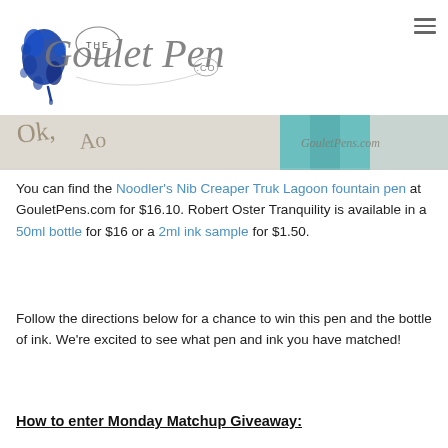The Goulet Pen Co. logo and navigation
[Figure (photo): Cropped image strip showing handwritten text on paper with teal/turquoise color swatch and GouletPens.com watermark]
You can find the Noodler's Nib Creaper Truk Lagoon fountain pen at GouletPens.com for $16.10. Robert Oster Tranquility is available in a 50ml bottle for $16 or a 2ml ink sample for $1.50.
Follow the directions below for a chance to win this pen and the bottle of ink. We're excited to see what pen and ink you have matched!
How to enter Monday Matchup Giveaway: